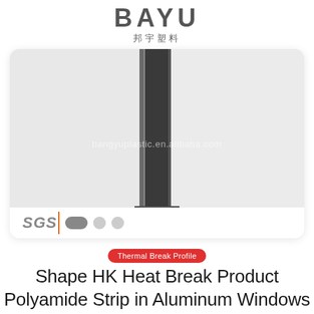[Figure (logo): BAYU logo in bold grey uppercase letters with Chinese characters '邦宇塑料' below]
[Figure (photo): Product photo of a black/dark grey polyamide thermal break strip (H-K shaped profile) standing upright against a white background, inside a rounded white card. Watermark text 'bangyuplastic.en.alibaba.com' overlaid. SGS logo with orange line and pagination dots at bottom of card.]
Thermal Break Profile
Shape HK Heat Break Product Polyamide Strip in Aluminum Windows